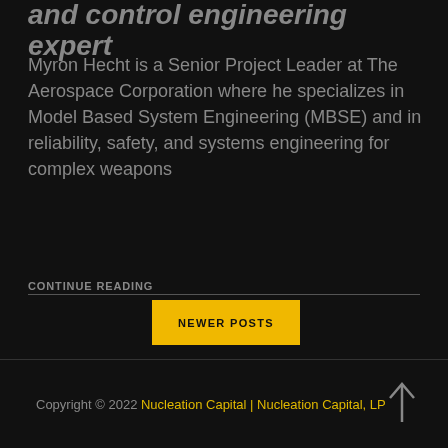and control engineering expert
Myron Hecht is a Senior Project Leader at The Aerospace Corporation where he specializes in Model Based System Engineering (MBSE) and in reliability, safety, and systems engineering for complex weapons
CONTINUE READING
NEWER POSTS
Copyright © 2022 Nucleation Capital | Nucleation Capital, LP